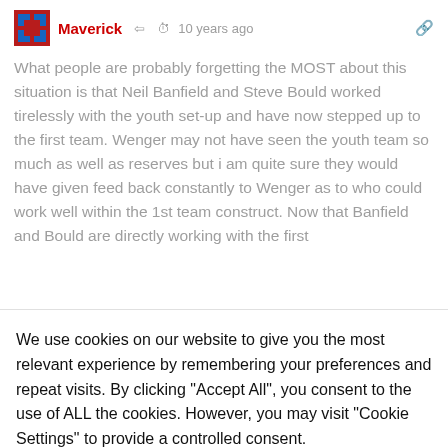Maverick · 10 years ago
What people are probably forgetting the MOST about this situation is that Neil Banfield and Steve Bould worked tirelessly with the youth set-up and have now stepped up to the first team. Wenger may not have seen the youth team so much as well as reserves but i am quite sure they would have given feed back constantly to Wenger as to who could work well within the 1st team construct. Now that Banfield and Bould are directly working with the first
We use cookies on our website to give you the most relevant experience by remembering your preferences and repeat visits. By clicking "Accept All", you consent to the use of ALL the cookies. However, you may visit "Cookie Settings" to provide a controlled consent.
Cookie Settings
Accept All